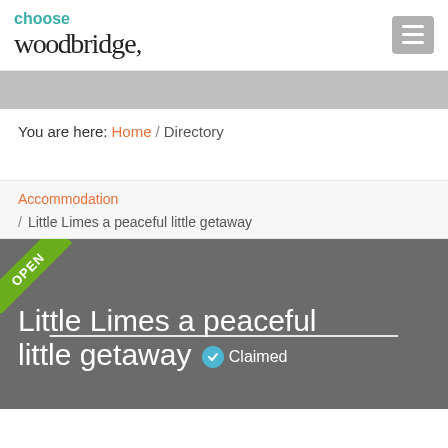[Figure (logo): Choose Woodbridge logo with teal 'choose' text and serif 'woodbridge' wordmark]
You are here: Home / Directory
Accommodation
/ Little Limes a peaceful little getaway
[Figure (infographic): Dark gray listing card with green OPEN ribbon, white horizontal line, and white title text reading 'Little Limes a peaceful little getaway' with a Claimed badge]
Little Limes a peaceful little getaway Claimed